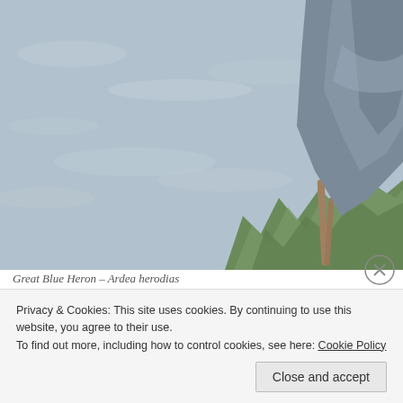[Figure (photo): Great Blue Heron standing near water with grass and reeds, bird visible from body and legs against a water background]
Great Blue Heron – Ardea herodias
I first met the Great Blue Heron as a boy, in the fields of Ithaca, New York. T bird is solely responsible for my interest in the entire avian world. I s remainder of my childhood drawing the Great Blue Heron over and ove birders and ornithologists alike have similar stories, each with their own b Great Blue Heron is my bird, and will forever be special to me.
Privacy & Cookies: This site uses cookies. By continuing to use this website, you agree to their use.
To find out more, including how to control cookies, see here: Cookie Policy